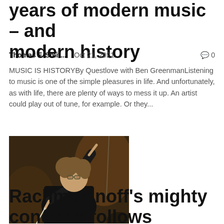years of modern music – and modern history
Thomas F. Smit...   Oct 21, 2021   💬 0
MUSIC IS HISTORYBy Questlove with Ben GreenmanListening to music is one of the simple pleasures in life. And unfortunately, as with life, there are plenty of ways to mess it up. An artist could play out of tune, for example. Or they...
[Figure (photo): A conductor with curly hair and glasses, wearing black, raising a baton with one hand raised high, performing in front of an orchestra in a dimly lit concert hall.]
Rachmaninoff's mighty concerto follows modern music